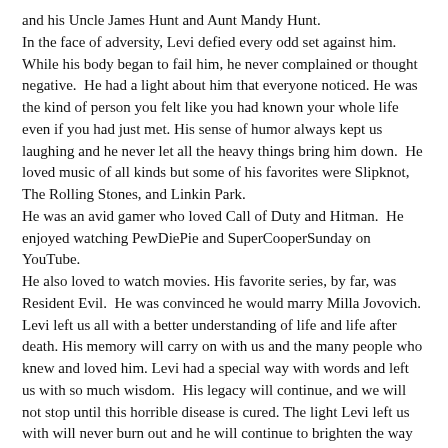and his Uncle James Hunt and Aunt Mandy Hunt. In the face of adversity, Levi defied every odd set against him. While his body began to fail him, he never complained or thought negative. He had a light about him that everyone noticed. He was the kind of person you felt like you had known your whole life even if you had just met. His sense of humor always kept us laughing and he never let all the heavy things bring him down. He loved music of all kinds but some of his favorites were Slipknot, The Rolling Stones, and Linkin Park. He was an avid gamer who loved Call of Duty and Hitman. He enjoyed watching PewDiePie and SuperCooperSunday on YouTube. He also loved to watch movies. His favorite series, by far, was Resident Evil. He was convinced he would marry Milla Jovovich. Levi left us all with a better understanding of life and life after death. His memory will carry on with us and the many people who knew and loved him. Levi had a special way with words and left us with so much wisdom. His legacy will continue, and we will not stop until this horrible disease is cured. The light Levi left us with will never burn out and he will continue to brighten the way as we navigate these uncertain waters.
In lieu of flowers, the family would like donations to be made to https://www.cureraredisease.org/donate.